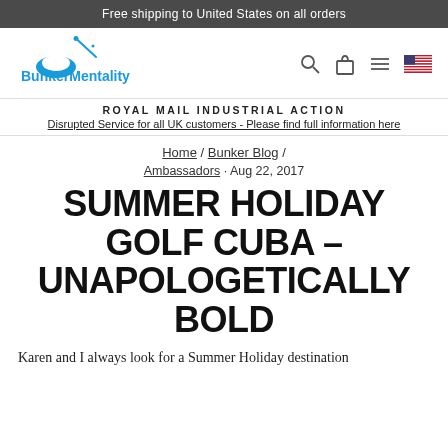Free shipping to United States on all orders
[Figure (logo): BunkerMentality logo in blue with golf club graphic]
ROYAL MAIL INDUSTRIAL ACTION
Disrupted Service for all UK customers - Please find full information here
Home / Bunker Blog /
Ambassadors · Aug 22, 2017
SUMMER HOLIDAY GOLF CUBA – UNAPOLOGETICALLY BOLD
Karen and I always look for a Summer Holiday destination